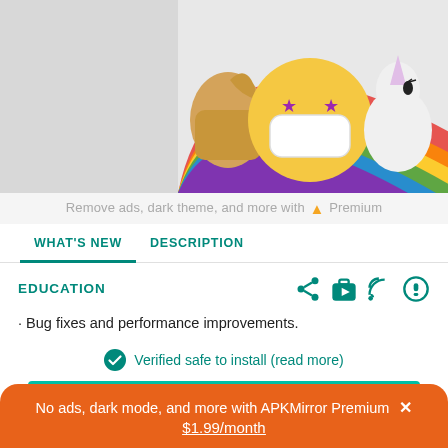[Figure (screenshot): App screenshot showing emoji characters with masks and unicorn on rainbow background]
Remove ads, dark theme, and more with ▲ Premium
WHAT'S NEW
DESCRIPTION
EDUCATION
· Bug fixes and performance improvements.
Verified safe to install (read more)
No ads, dark mode, and more with APKMirror Premium ✕
$1.99/month